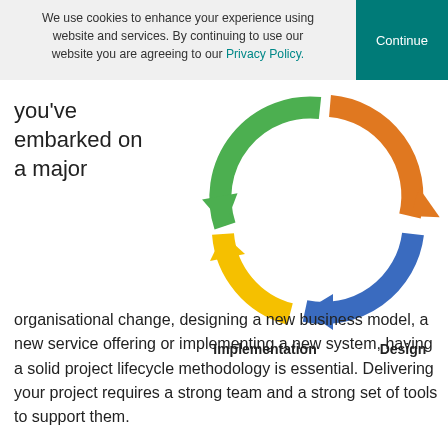We use cookies to enhance your experience using website and services. By continuing to use our website you are agreeing to our Privacy Policy.
you've embarked on a major
[Figure (infographic): Circular cycle diagram with three curved arrows forming a cycle. Green arrow at top-left pointing down, orange arrow at top-right pointing down, blue arrow on right pointing left, and yellow arrow at bottom pointing up-left. Labels: 'Implementation' at bottom-left, 'Design' at bottom-right.]
organisational change, designing a new business model, a new service offering or implementing a new system, having a solid project lifecycle methodology is essential. Delivering your project requires a strong team and a strong set of tools to support them.